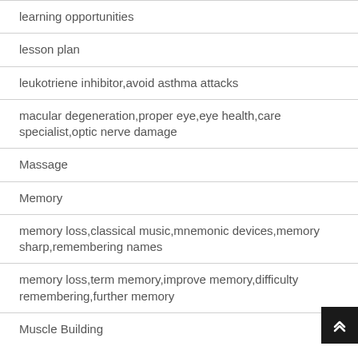learning opportunities
lesson plan
leukotriene inhibitor,avoid asthma attacks
macular degeneration,proper eye,eye health,care specialist,optic nerve damage
Massage
Memory
memory loss,classical music,mnemonic devices,memory sharp,remembering names
memory loss,term memory,improve memory,difficulty remembering,further memory
Muscle Building